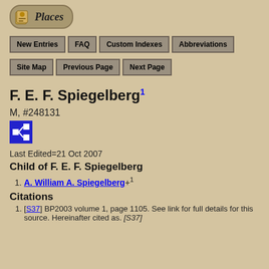[Figure (logo): Places website logo with book/scroll icon and italic text 'Places' in a rounded rectangle button]
New Entries | FAQ | Custom Indexes | Abbreviations | Site Map | Previous Page | Next Page
F. E. F. Spiegelberg1
M, #248131
[Figure (other): Blue square icon with family tree/pedigree symbol]
Last Edited=21 Oct 2007
Child of F. E. F. Spiegelberg
A. William A. Spiegelberg+1
Citations
[S37] BP2003 volume 1, page 1105. See link for full details for this source. Hereinafter cited as. [S37]